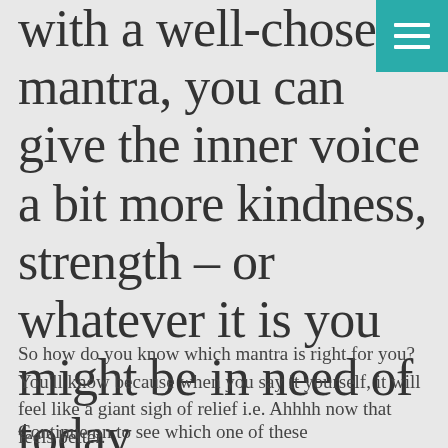with a well-chosen mantra, you can give the inner voice a bit more kindness, strength – or whatever it is you might be in need of today.
[Figure (other): Teal/turquoise hamburger menu icon button in top-right corner with three white horizontal lines]
So how do you know which mantra is right for you? You'll know because when you say it yourself, it will feel like a giant sigh of relief i.e. Ahhhh now that feels better.
Continue on to see which one of these